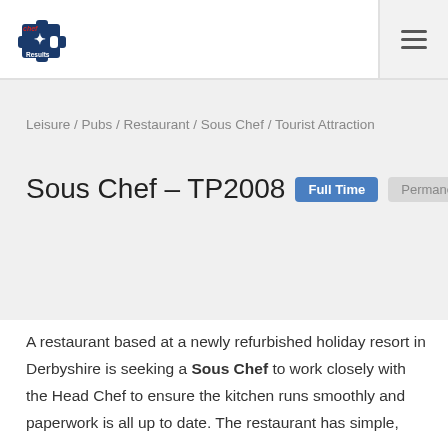[Figure (logo): Chef Results logo: blue puzzle piece icon with red 'chef' text above and 'Results' text below]
Leisure / Pubs / Restaurant / Sous Chef / Tourist Attraction
Sous Chef – TP2008
Full Time
Permanent
A restaurant based at a newly refurbished holiday resort in Derbyshire is seeking a Sous Chef to work closely with the Head Chef to ensure the kitchen runs smoothly and paperwork is all up to date. The restaurant has simple,